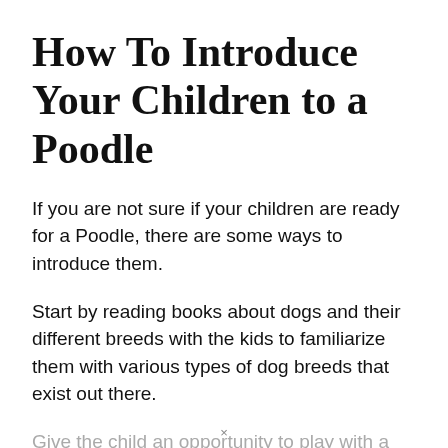How To Introduce Your Children to a Poodle
If you are not sure if your children are ready for a Poodle, there are some ways to introduce them.
Start by reading books about dogs and their different breeds with the kids to familiarize them with various types of dog breeds that exist out there.
Give the child an opportunity to play with a Poodle